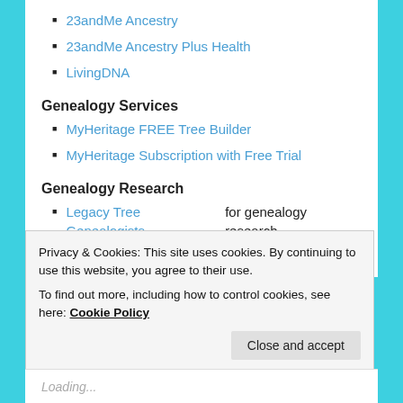23andMe Ancestry
23andMe Ancestry Plus Health
LivingDNA
Genealogy Services
MyHeritage FREE Tree Builder
MyHeritage Subscription with Free Trial
Genealogy Research
Legacy Tree Genealogists for genealogy research
SHARE THIS:
Privacy & Cookies: This site uses cookies. By continuing to use this website, you agree to their use.
To find out more, including how to control cookies, see here: Cookie Policy
Loading...